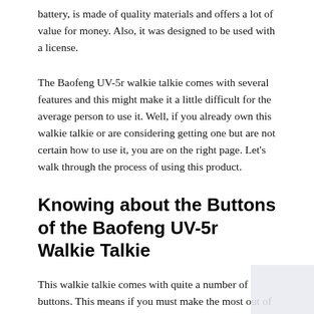battery, is made of quality materials and offers a lot of value for money. Also, it was designed to be used with a license.
The Baofeng UV-5r walkie talkie comes with several features and this might make it a little difficult for the average person to use it. Well, if you already own this walkie talkie or are considering getting one but are not certain how to use it, you are on the right page. Let's walk through the process of using this product.
Knowing about the Buttons of the Baofeng UV-5r Walkie Talkie
This walkie talkie comes with quite a number of buttons. This means if you must make the most out of it, you will need to know about its entire buttons, what they do, and how to use them. The buttons on this walkie-talkie actually have letters